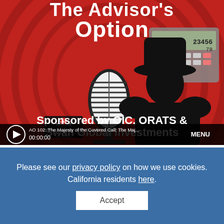[Figure (screenshot): Podcast thumbnail for 'The Advisor's Option' showing a silhouette of a man in a fedora hat with a vintage microphone on a red background with a calculator. Text: 'The Advisor's Option', 'Sponsored by OIC, ORATS &', 'Swan Global Investments'. OPTIONS logo visible. Audio player bar at bottom showing 'AO 102: The Majesty of the Covered Call: The Maj...' with play button, 00:00:00 timestamp, and MENU button.]
Please see our privacy policy on how we use cookies. California residents here.